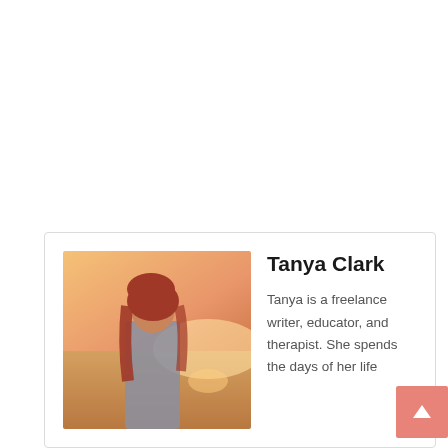[Figure (photo): Author profile card with a photo of Tanya Clark (a woman with reddish-brown hair at a beach/sunset scene) on the left, and her name and bio text on the right.]
Tanya Clark
Tanya is a freelance writer, educator, and therapist. She spends the days of her life